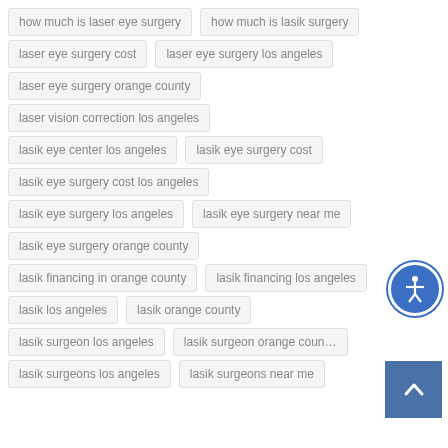how much is laser eye surgery
how much is lasik surgery
laser eye surgery cost
laser eye surgery los angeles
laser eye surgery orange county
laser vision correction los angeles
lasik eye center los angeles
lasik eye surgery cost
lasik eye surgery cost los angeles
lasik eye surgery los angeles
lasik eye surgery near me
lasik eye surgery orange county
lasik financing in orange county
lasik financing los angeles
lasik los angeles
lasik orange county
lasik surgeon los angeles
lasik surgeon orange county
lasik surgeons los angeles
lasik surgeons near me